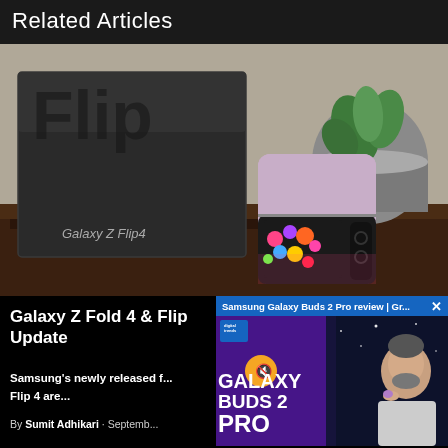Related Articles
[Figure (photo): Samsung Galaxy Z Flip 4 phone shown closed and folded next to its retail box. The box reads 'Galaxy Z Flip4' on the front. The folded phone shows its outer display with colorful floral/fireworks wallpaper. A silver metallic pot with a green plant is visible in the background. The phone appears to be the lavender/purple color variant.]
Galaxy Z Fold 4 & Flip Update
Samsung's newly released f... Flip 4 are...
By Sumit Adhikari · Septemb...
[Figure (screenshot): Video overlay popup showing Samsung Galaxy Buds 2 Pro review with title 'Samsung Galaxy Buds 2 Pro review | Gr...' in a blue header bar with an X close button. The thumbnail shows the Digital Trends logo, text 'GALAXY BUDS 2 PRO' in large white letters on purple background, and a man holding a small purple earbud case. A mute/unmute button icon is visible.]